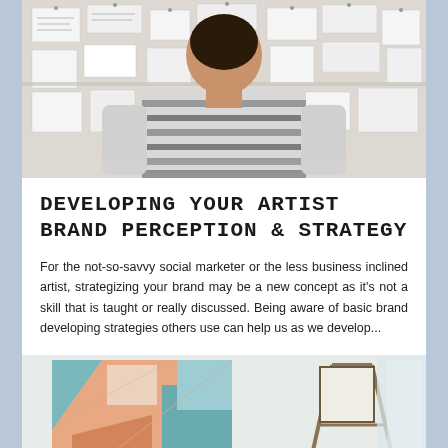[Figure (photo): Person seen from behind wearing a striped sweater, looking at a wall covered with papers, sketches, and notes pinned up as a planning or mood board.]
DEVELOPING YOUR ARTIST BRAND PERCEPTION & STRATEGY
For the not-so-savvy social marketer or the less business inclined artist, strategizing your brand may be a new concept as it's not a skill that is taught or really discussed. Being aware of basic brand developing strategies others use can help us as we develop...
[Figure (photo): Abstract colorful artwork or painting with teal, peach and orange shapes leaning against a wall, partially visible with an easel on the right side.]